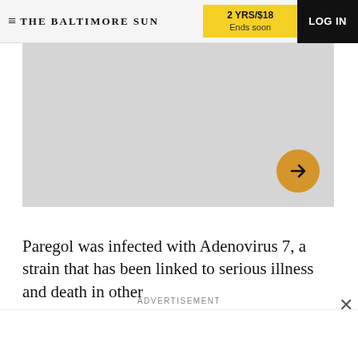THE BALTIMORE SUN  |  2 YRS/$18 Ends soon  |  LOG IN
[Figure (photo): Gray placeholder image with a golden arrow circle button in the bottom-right corner]
Paregol was infected with Adenovirus 7, a strain that has been linked to serious illness and death in other
ADVERTISEMENT